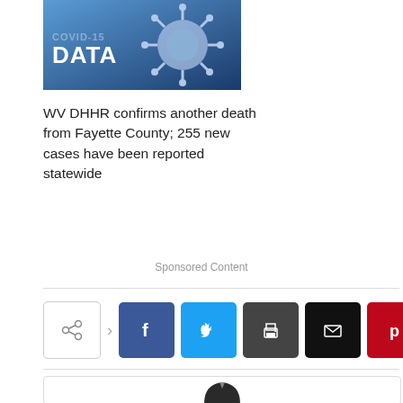[Figure (photo): COVID-19 Data banner image with 3D coronavirus illustration and text reading COVID-19 DATA]
WV DHHR confirms another death from Fayette County; 255 new cases have been reported statewide
Sponsored Content
[Figure (infographic): Social share button bar with share icon, Facebook, Twitter, Print, Email, Pinterest, Reddit, and Viber buttons]
[Figure (photo): Author card showing a man in suit with glasses at the bottom of the page]